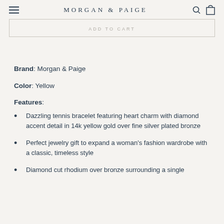MORGAN & PAIGE
ADD TO CART
Brand: Morgan & Paige
Color: Yellow
Features:
Dazzling tennis bracelet featuring heart charm with diamond accent detail in 14k yellow gold over fine silver plated bronze
Perfect jewelry gift to expand a woman's fashion wardrobe with a classic, timeless style
Diamond cut rhodium over bronze surrounding a single